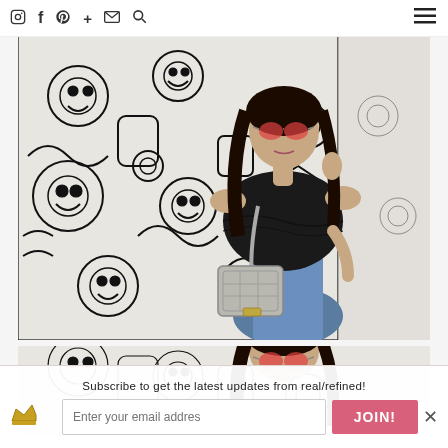Instagram, Facebook, Pinterest, Google+, Email, Search, Menu
Bristol Favorites: French Jeans, and Belt, Ray-Ban aviators, and Chanel b...
[Figure (photo): Young woman in black off-shoulder top, jeans, gray Chanel boy bag and red-tinted aviator sunglasses, posed in front of a black and white graffiti/doodle art mural wall]
[Figure (photo): Partial second photo of the same woman in front of the same graffiti mural, showing the top portion of the image]
Subscribe to get the latest updates from real/refined!
Enter your email addres
JOIN!